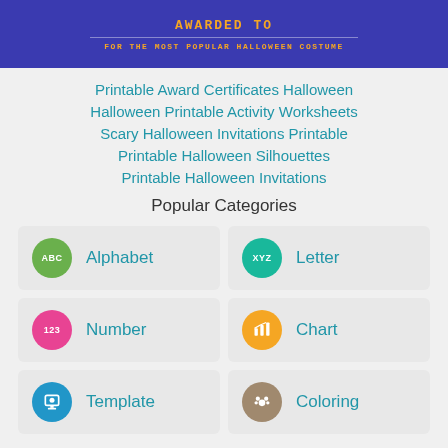[Figure (illustration): Blue banner with 'AWARDED TO' text in orange and a horizontal line, partial Halloween certificate]
Printable Award Certificates Halloween
Halloween Printable Activity Worksheets
Scary Halloween Invitations Printable
Printable Halloween Silhouettes
Printable Halloween Invitations
Popular Categories
[Figure (infographic): Grid of 6 category cards: Alphabet (green ABC icon), Letter (teal XYZ icon), Number (pink 123 icon), Chart (orange chart icon), Template (blue icon), Coloring (brown paw icon)]